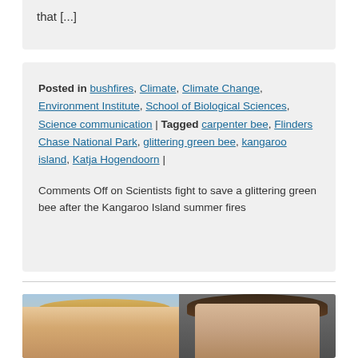that [...]
Posted in bushfires, Climate, Climate Change, Environment Institute, School of Biological Sciences, Science communication | Tagged carpenter bee, Flinders Chase National Park, glittering green bee, kangaroo island, Katja Hogendoorn |
Comments Off on Scientists fight to save a glittering green bee after the Kangaroo Island summer fires
[Figure (photo): Two people side by side: a woman with blonde hair on the left with a beach/water background, and a man with dark hair on the right with a dark background.]